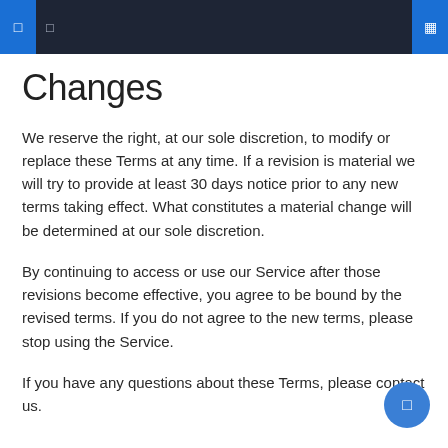[Navigation bar with menu icons]
Changes
We reserve the right, at our sole discretion, to modify or replace these Terms at any time. If a revision is material we will try to provide at least 30 days notice prior to any new terms taking effect. What constitutes a material change will be determined at our sole discretion.
By continuing to access or use our Service after those revisions become effective, you agree to be bound by the revised terms. If you do not agree to the new terms, please stop using the Service.
If you have any questions about these Terms, please contact us.